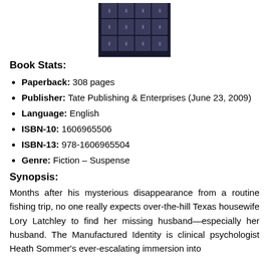[Figure (illustration): Book cover image showing a dark background with a 4x3 grid of silhouetted figures/faces]
Book Stats:
Paperback: 308 pages
Publisher: Tate Publishing & Enterprises (June 23, 2009)
Language: English
ISBN-10: 1606965506
ISBN-13: 978-1606965504
Genre: Fiction – Suspense
Synopsis:
Months after his mysterious disappearance from a routine fishing trip, no one really expects over-the-hill Texas housewife Lory Latchley to find her missing husband—especially her husband. The Manufactured Identity is clinical psychologist Heath Sommer's ever-escalating immersion into